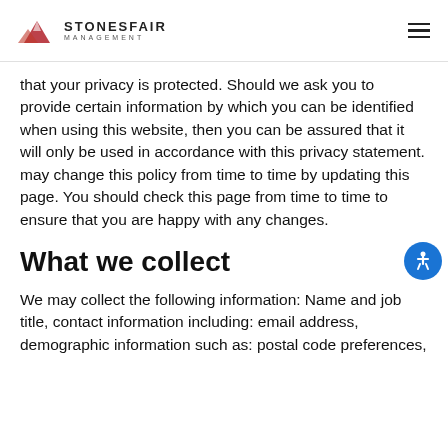STONESFAIR MANAGEMENT
that your privacy is protected. Should we ask you to provide certain information by which you can be identified when using this website, then you can be assured that it will only be used in accordance with this privacy statement. may change this policy from time to time by updating this page. You should check this page from time to time to ensure that you are happy with any changes.
What we collect
We may collect the following information: Name and job title, contact information including: email address, demographic information such as: postal code preferences,